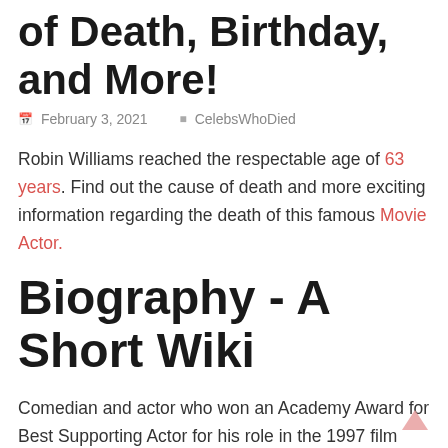of Death, Birthday, and More!
February 3, 2021   CelebsWhoDied
Robin Williams reached the respectable age of 63 years. Find out the cause of death and more exciting information regarding the death of this famous Movie Actor.
Biography - A Short Wiki
Comedian and actor who won an Academy Award for Best Supporting Actor for his role in the 1997 film Good Will Hunting. He also played lead roles in the films Dead Poets Society, Hook, Mrs. Doubtfire, Patch